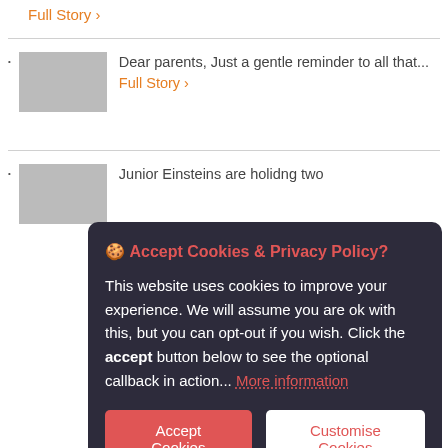Full Story >
Dear parents, Just a gentle reminder to all that... Full Story >
Junior Einsteins are holidng two
🍪 Accept Cookies & Privacy Policy?
This website uses cookies to improve your experience. We will assume you are ok with this, but you can opt-out if you wish. Click the accept button below to see the optional callback in action... More information
Accept Cookies
Customise Cookies